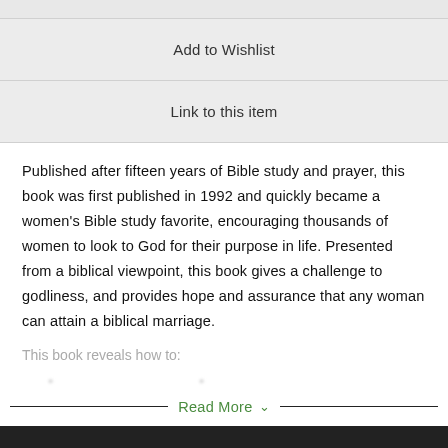Add to Wishlist
Link to this item
Published after fifteen years of Bible study and prayer, this book was first published in 1992 and quickly became a women's Bible study favorite, encouraging thousands of women to look to God for their purpose in life. Presented from a biblical viewpoint, this book gives a challenge to godliness, and provides hope and assurance that any woman can attain a biblical marriage.
This book reveals how to:
Read More